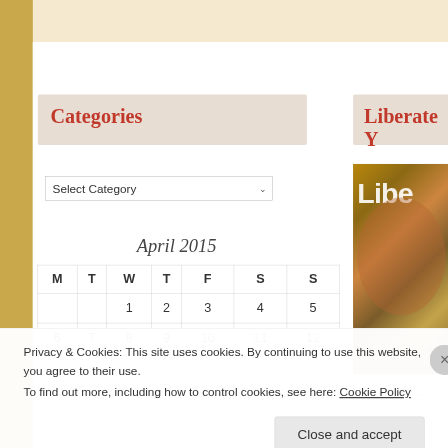Categories
Select Category
April 2015
| M | T | W | T | F | S | S |
| --- | --- | --- | --- | --- | --- | --- |
|  |  | 1 | 2 | 3 | 4 | 5 |
| 6 | 7 | 8 | 9 | 10 | 11 | 12 |
Liberate Y
[Figure (photo): Liberate postcard book cover with heart-shaped collage image]
Privacy & Cookies: This site uses cookies. By continuing to use this website, you agree to their use.
To find out more, including how to control cookies, see here: Cookie Policy
Close and accept